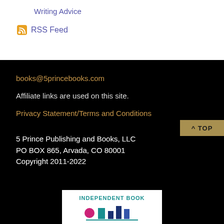Writing Advice
RSS Feed
books@5princebooks.com
Affiliate links are used on this site.
Privacy Statement/Terms and Conditions
5 Prince Publishing and Books, LLC
PO BOX 865, Arvada, CO 80001
Copyright 2011-2022
[Figure (logo): Independent Book Publishers Association logo]